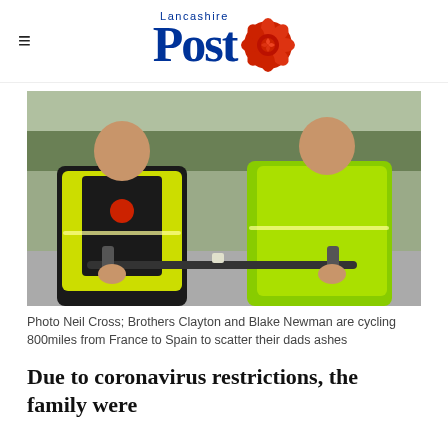Lancashire Post
[Figure (photo): Two men in high-visibility yellow cycling jackets leaning over bicycle handlebars, smiling at the camera. Outdoor setting with trees in background. Brothers Clayton and Blake Newman.]
Photo Neil Cross; Brothers Clayton and Blake Newman are cycling 800miles from France to Spain to scatter their dads ashes
Due to coronavirus restrictions, the family were